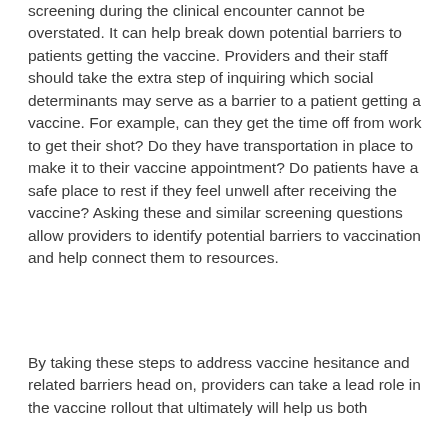screening during the clinical encounter cannot be overstated. It can help break down potential barriers to patients getting the vaccine. Providers and their staff should take the extra step of inquiring which social determinants may serve as a barrier to a patient getting a vaccine. For example, can they get the time off from work to get their shot? Do they have transportation in place to make it to their vaccine appointment? Do patients have a safe place to rest if they feel unwell after receiving the vaccine? Asking these and similar screening questions allow providers to identify potential barriers to vaccination and help connect them to resources.
By taking these steps to address vaccine hesitance and related barriers head on, providers can take a lead role in the vaccine rollout that ultimately will help us both